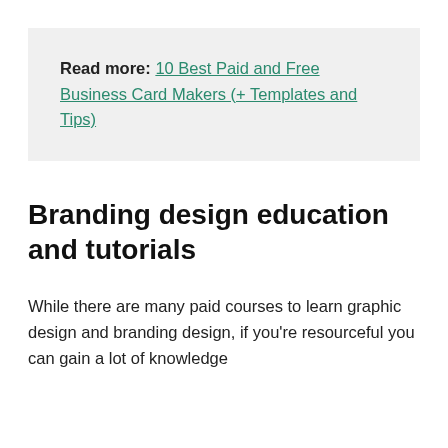Read more: 10 Best Paid and Free Business Card Makers (+ Templates and Tips)
Branding design education and tutorials
While there are many paid courses to learn graphic design and branding design, if you're resourceful you can gain a lot of knowledge